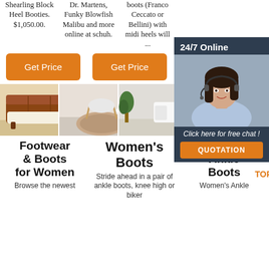Shearling Block Heel Booties. $1,050.00.
Dr. Martens, Funky Blowfish Malibu and more online at schuh.
boots (Franco Ceccato or Bellini) with midi heels will ...
[Figure (other): Orange 'Get Price' button (column 1)]
[Figure (other): Orange 'Get Price' button (column 2)]
[Figure (other): Orange 'G...' button (column 3, partially hidden)]
[Figure (other): 24/7 Online chat widget with woman wearing headset, 'Click here for free chat!' and QUOTATION button]
[Figure (photo): Brown leather sofa with white sheepskin throw]
[Figure (photo): Round fluffy rug on floor with chair]
[Figure (photo): Interior room with plant and furniture]
Footwear & Boots for Women
Women's Boots
Women's Ankle Boots
Browse the newest
Stride ahead in a pair of ankle boots, knee high or biker
Women's Ankle Boots